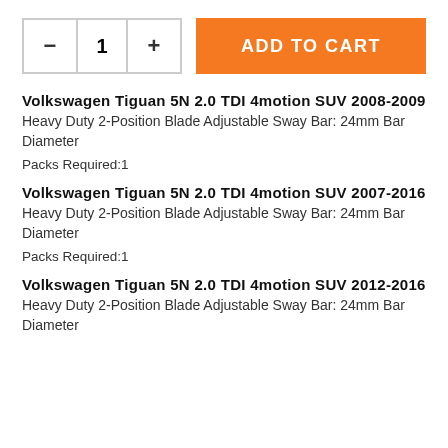[Figure (other): Quantity selector control with minus, 1, plus buttons and orange ADD TO CART button]
Volkswagen Tiguan 5N 2.0 TDI 4motion SUV 2008-2009
Heavy Duty 2-Position Blade Adjustable Sway Bar: 24mm Bar Diameter
Packs Required:1
Volkswagen Tiguan 5N 2.0 TDI 4motion SUV 2007-2016
Heavy Duty 2-Position Blade Adjustable Sway Bar: 24mm Bar Diameter
Packs Required:1
Volkswagen Tiguan 5N 2.0 TDI 4motion SUV 2012-2016
Heavy Duty 2-Position Blade Adjustable Sway Bar: 24mm Bar Diameter